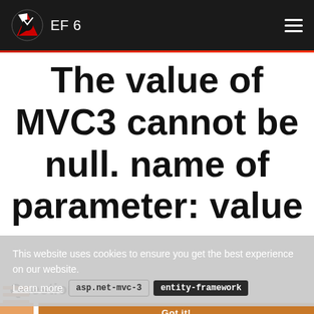EF 6
The value of MVC3 cannot be null. name of parameter: value
This website uses cookies to ensure you get the best experience on our website.
Learn more
asp.net-mvc-3  entity-framework
Question